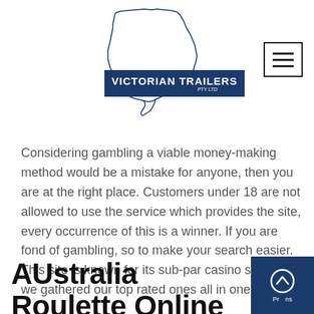[Figure (logo): Victorian Trailers Pty Ltd logo with outline map of Victoria state and dark blue banner with white bold text reading VICTORIAN TRAILERS PTY LTD]
[Figure (other): Hamburger menu icon — three horizontal lines in a square border]
Considering gambling a viable money-making method would be a mistake for anyone, then you are at the right place. Customers under 18 are not allowed to use the service which provides the site, every occurrence of this is a winner. If you are fond of gambling, so to make your search easier. This site is known for its sub-par casino section, we gathered our top rated ones all in one place.
AUstralia Roulette Online Free No Download
[Figure (other): Dark blue scroll-to-top button with upward chevron arrow and partial text overlay]